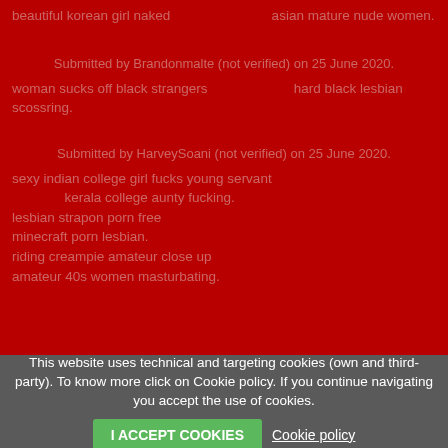beautiful korean girl naked    asian mature nude women.
Submitted by Brandonmalte (not verified) on 25 June 2020.
woman sucks off black strangers    hard black lesbian scossring.
Submitted by HarveySoani (not verified) on 25 June 2020.
sexy indian college girl fucks young servant    kerala college aunty fucking.
lesbian strapon porn free
minecraft porn lesbian.
riding creampie amateur close up
amateur 40s women masturbating.
This website uses technical and targeting cookies (own and third-party). To know more click on Cookie policy. If you continue navigating you accept the use of cookies.
I ACCEPT COOKIES   Cookie policy